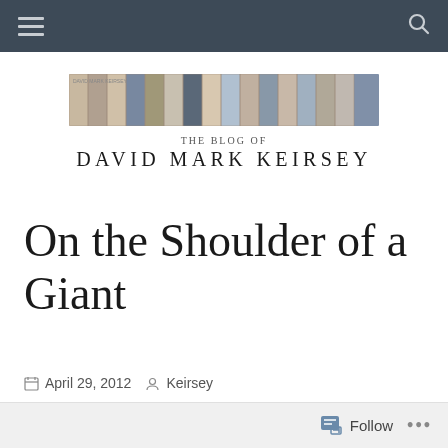[Figure (photo): Blog header for 'The Blog of David Mark Keirsey' featuring a strip of portrait photos of various famous people above the blog name text]
On the Shoulder of a Giant
April 29, 2012  Keirsey
Follow